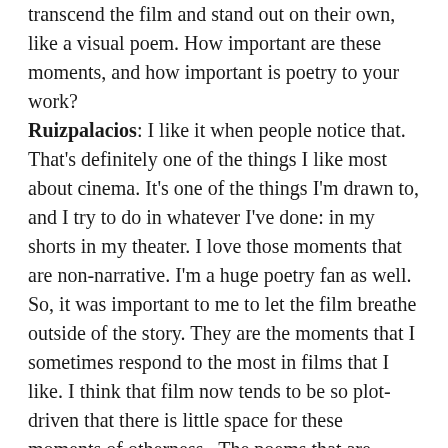transcend the film and stand out on their own, like a visual poem. How important are these moments, and how important is poetry to your work?
Ruizpalacios: I like it when people notice that. That's definitely one of the things I like most about cinema. It's one of the things I'm drawn to, and I try to do in whatever I've done: in my shorts in my theater. I love those moments that are non-narrative. I'm a huge poetry fan as well.  So, it was important to me to let the film breathe outside of the story. They are the moments that I sometimes respond to the most in films that I like. I think that film now tends to be so plot-driven that there is little space for these moments of otherness.  The poems that are actually in the film are written by a friend of mine. He's a really great poet.
West: I think I saw his name listed in the credits?
Ruizpalacios: Yes. His name is Javier Peñalosa. He actually just came back to Mexico from New York. He